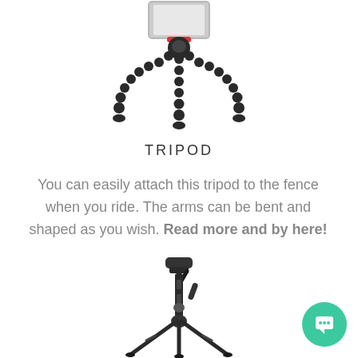[Figure (photo): Flexible jointed tripod (GorillaPod style) with phone holder attachment, viewed from front against white background]
TRIPOD
You can easily attach this tripod to the fence when you ride. The arms can be bent and shaped as you wish. Read more and by here!
[Figure (photo): Traditional tall photography tripod with pan head and handle, black, viewed from front against white background]